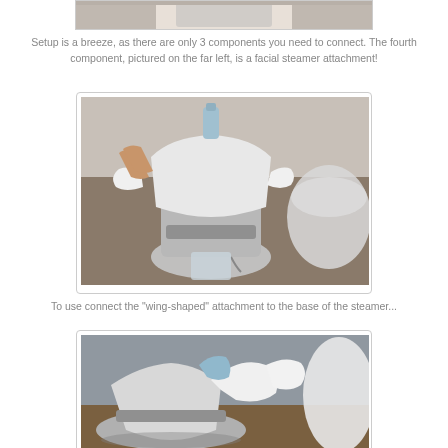[Figure (photo): Top portion of a product photo showing a white steamer component on a countertop background, partially cut off at the top of the page]
Setup is a breeze, as there are only 3 components you need to connect. The fourth component, pictured on the far left, is a facial steamer attachment!
[Figure (photo): A hand holding and connecting a white wing-shaped attachment to the base of a white facial steamer unit on a countertop. A clear bowl is visible to the right.]
To use connect the "wing-shaped" attachment to the base of the steamer...
[Figure (photo): Close-up photo showing the wing-shaped white attachment being connected to the base of the facial steamer from a different angle. Blue and white steamer parts visible.]